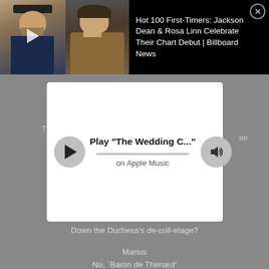[Figure (screenshot): Billboard News video thumbnail showing two artists (Jackson Dean and Rosa Linn) with a play button overlay]
Hot 100 First-Timers: Jackson Dean & Rosa Linn Celebrate Their Chart Debut | Billboard News
[Figure (screenshot): Apple Music player widget showing Play 'The Wedding C...' on Apple Music with play button, progress bar, and volume button]
Down the Duchess's de-coll-etage?
Marius
No, `Baron de Thenard'
The circles I move in are humbler by far.